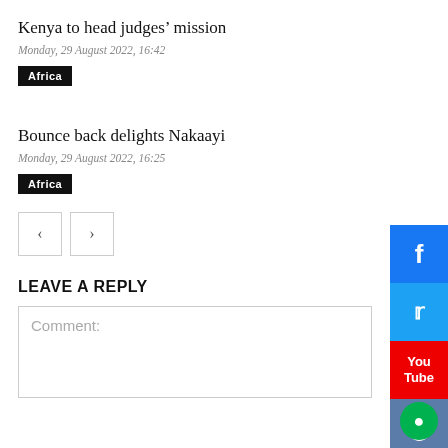Kenya to head judges’ mission
Monday, 29 August 2022, 16:42
Africa
Bounce back delights Nakaayi
Monday, 29 August 2022, 16:25
Africa
LEAVE A REPLY
Comment: